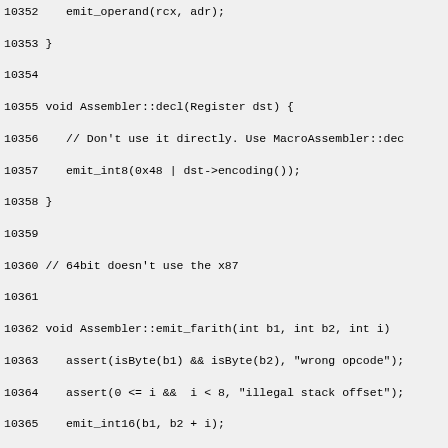Source code listing lines 10352-10382, showing Assembler class methods: decl, emit_farith, fabs, fadd, fadd_d